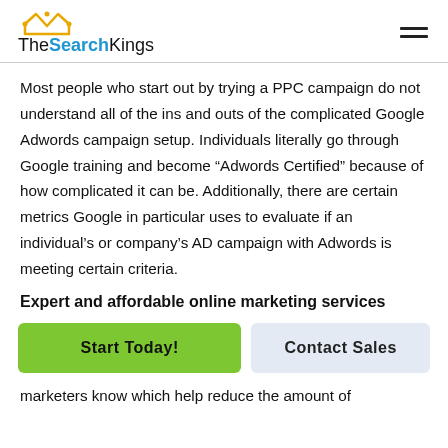TheSearchKings
Most people who start out by trying a PPC campaign do not understand all of the ins and outs of the complicated Google Adwords campaign setup. Individuals literally go through Google training and become “Adwords Certified” because of how complicated it can be. Additionally, there are certain metrics Google in particular uses to evaluate if an individual’s or company’s AD campaign with Adwords is meeting certain criteria.
Expert and affordable online marketing services
Start Today!
Contact Sales
marketers know which help reduce the amount of